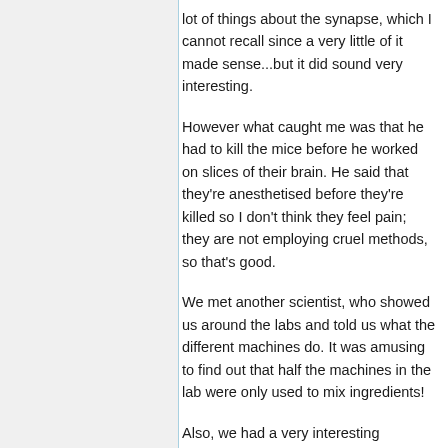lot of things about the synapse, which I cannot recall since a very little of it made sense...but it did sound very interesting.
However what caught me was that he had to kill the mice before he worked on slices of their brain. He said that they're anesthetised before they're killed so I don't think they feel pain; they are not employing cruel methods, so that's good.
We met another scientist, who showed us around the labs and told us what the different machines do. It was amusing to find out that half the machines in the lab were only used to mix ingredients!
Also, we had a very interesting conversation in the morning at NCBS, it was about how a scientific institue could afford to be so luxurious while a majority of our country was starving and